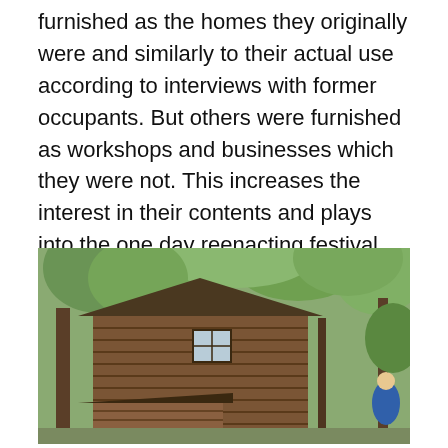furnished as the homes they originally were and similarly to their actual use according to interviews with former occupants. But others were furnished as workshops and businesses which they were not. This increases the interest in their contents and plays into the one day reenacting festival every Fall.
[Figure (photo): A historic log cabin structure surrounded by trees, showing wooden log walls, a small window, and an attached lower structure with a shed roof, photographed outdoors in a wooded setting.]